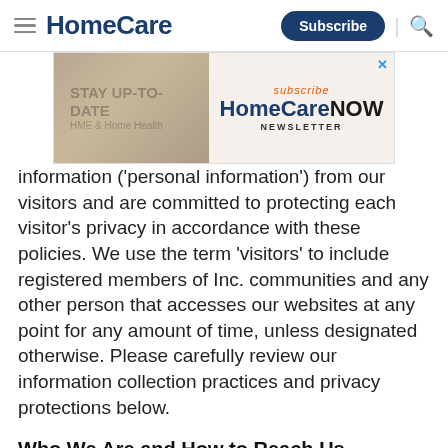HomeCare | Subscribe | Search
[Figure (screenshot): Advertisement banner for HomeCare NOW Newsletter — 'STAY UP-TO-DATE HME & Home Health | subscribe HomeCare NOW NEWSLETTER']
information ('personal information') from our visitors and are committed to protecting each visitor's privacy in accordance with these policies. We use the term 'visitors' to include registered members of Inc. communities and any other person that accesses our websites at any point for any amount of time, unless designated otherwise. Please carefully review our information collection practices and privacy protections below.
Who We Are and How to Reach Us
Cahaba Media Group owns and operates the following sites: CahabaMedia.com, PumpsAndSystems.com,